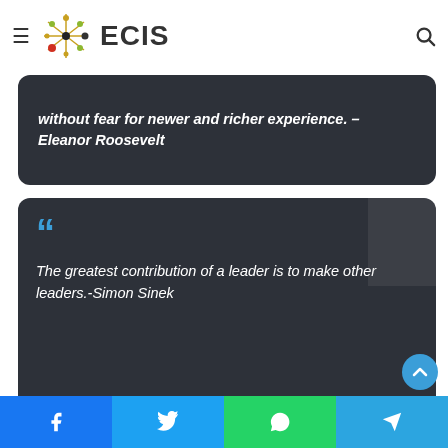[Figure (logo): ECIS logo with starburst/network graphic and text ECIS]
without fear for newer and richer experience. – Eleanor Roosevelt
The greatest contribution of a leader is to make other leaders.-Simon Sinek